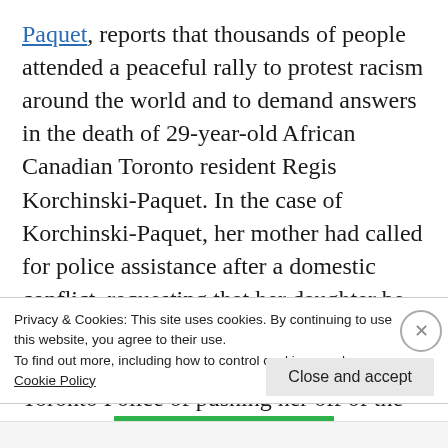Paquet, reports that thousands of people attended a peaceful rally to protest racism around the world and to demand answers in the death of 29-year-old African Canadian Toronto resident Regis Korchinski-Paquet. In the case of Korchinski-Paquet, her mother had called for police assistance after a domestic conflict, requesting that her daughter be taken to the Centre for Addiction and Mental Health. Regis' family has accused Toronto Police of pushing her off of the
Privacy & Cookies: This site uses cookies. By continuing to use this website, you agree to their use.
To find out more, including how to control cookies, see here:
Cookie Policy
Close and accept